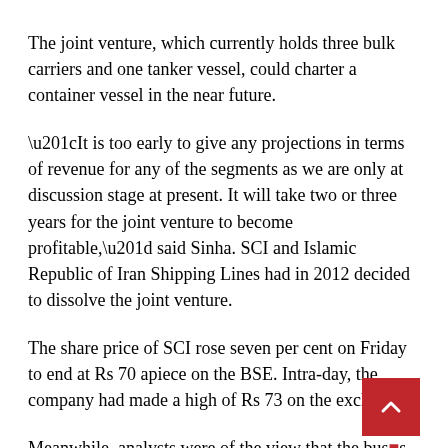The joint venture, which currently holds three bulk carriers and one tanker vessel, could charter a container vessel in the near future.
“It is too early to give any projections in terms of revenue for any of the segments as we are only at discussion stage at present. It will take two or three years for the joint venture to become profitable,” said Sinha. SCI and Islamic Republic of Iran Shipping Lines had in 2012 decided to dissolve the joint venture.
The share price of SCI rose seven per cent on Friday to end at Rs 70 apiece on the BSE. Intra-day, the company had made a high of Rs 73 on the exchange.
Meanwhile, analysts were of the view that the bus…s